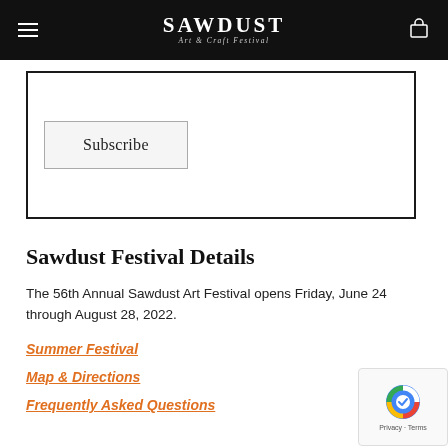Sawdust Art & Craft Festival
Subscribe
Sawdust Festival Details
The 56th Annual Sawdust Art Festival opens Friday, June 24 through August 28, 2022.
Summer Festival
Map & Directions
Frequently Asked Questions